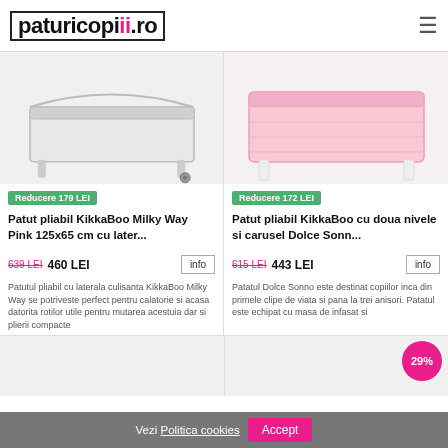paturicopii.ro
[Figure (photo): Product image of Patut pliabil KikkaBoo Milky Way Pink with wheels, white/silver frame, partially visible]
Reducere 179 LEI
Patut pliabil KikkaBoo Milky Way Pink 125x65 cm cu later...
639 LEI  460 LEI
Patutul pliabil cu laterala culisanta KikkaBoo Milky Way se potriveste perfect pentru calatorie si acasa datorita rotilor utile pentru mutarea acestuia dar si plierii compacte
[Figure (photo): Product image of Patut pliabil KikkaBoo cu doua nivele si carusel Dolce Sonn, pink color]
Reducere 172 LEI
Patut pliabil KikkaBoo cu doua nivele si carusel Dolce Sonn...
615 LEI  443 LEI
Patutul Dolce Sonno este destinat copiilor inca din primele clipe de viata si pana la trei anisori. Patutul este echipat cu masa de infasat si
29%
Vezi Politica cookies  Accept